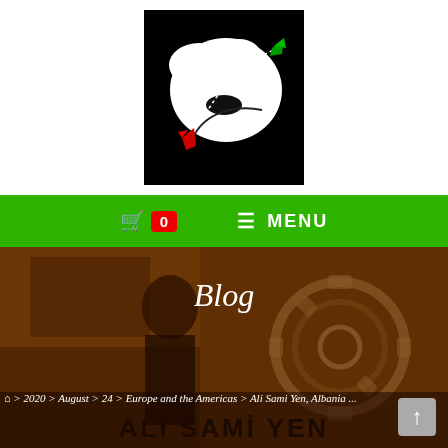[Figure (logo): Black background logo with white silhouette shape and red and green accent marks]
[Figure (screenshot): Green navigation bar with shopping cart icon, red badge showing 0, and MENU text]
[Figure (photo): Blog header banner with brown/sepia textured background, silhouette figure, gear symbol, Blog title text in white italic, breadcrumb navigation, and ALI SAMI YEN text at bottom]